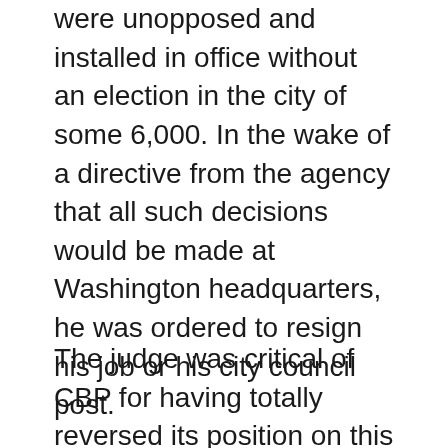were unopposed and installed in office without an election in the city of some 6,000. In the wake of a directive from the agency that all such decisions would be made at Washington headquarters, he was ordered to resign his job or his city council post.
The judge was critical of CBP for having totally reversed its position on this issue without